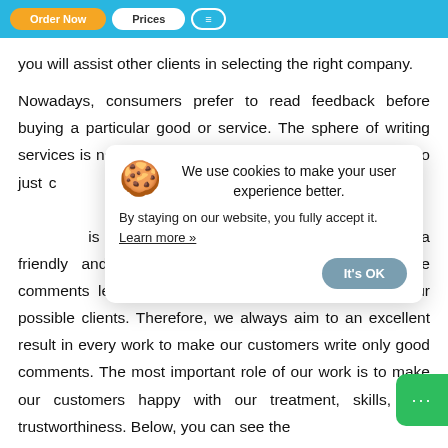[Figure (screenshot): Blue navigation header bar with orange, white, and outlined buttons]
you will assist other clients in selecting the right company.
Nowadays, consumers prefer to read feedback before buying a particular good or service. The sphere of writing services is not an ex… frauders, who just c… y works. That is wh… page, a client has … is easily accessible for everyone, as we are a friendly and open platform. We do realize that the comments left by our c… attract the attention of our possible clients. Therefore, we always aim to an excellent result in every work to make our customers write only good comments. The most important role of our work is to make our customers happy with our treatment, skills, and trustworthiness. Below, you can see the
[Figure (screenshot): Cookie consent popup with cookie emoji, text 'We use cookies to make your user experience better. By staying on our website, you fully accept it. Learn more »' and an 'It's OK' button]
[Figure (screenshot): Green chat button with ellipsis icon in bottom right corner]